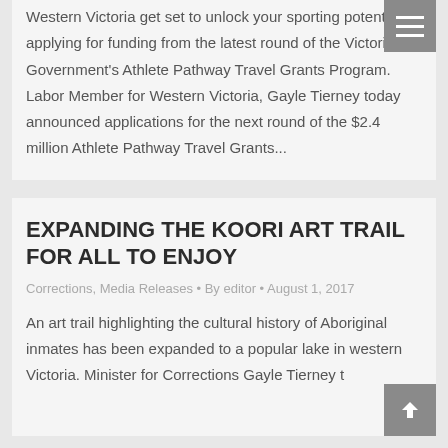Western Victoria get set to unlock your sporting potential by applying for funding from the latest round of the Victorian Government's Athlete Pathway Travel Grants Program. Labor Member for Western Victoria, Gayle Tierney today announced applications for the next round of the $2.4 million Athlete Pathway Travel Grants...
EXPANDING THE KOORI ART TRAIL FOR ALL TO ENJOY
Corrections, Media Releases • By editor • August 1, 2017
An art trail highlighting the cultural history of Aboriginal inmates has been expanded to a popular lake in western Victoria. Minister for Corrections Gayle Tierney today launched the Koori Art Trail at...